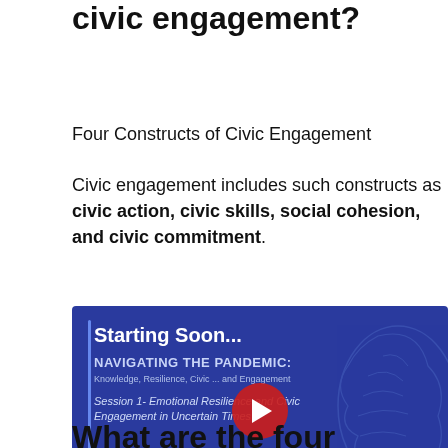What are the 4 constructs of civic engagement?
Four Constructs of Civic Engagement
Civic engagement includes such constructs as civic action, civic skills, social cohesion, and civic commitment.
[Figure (screenshot): Video thumbnail for 'Navigating the Pandemic: Knowledge, Resilience, Civic Engagement' - Session 1: Emotional Resilience and Civic Engagement in Uncertain Times. Shows blue background with brain illustration, 'Starting Soon...' text, and YouTube play button. Hosted by Tufts University Jonathan M. Tisch College of Civic Life.]
What are the four